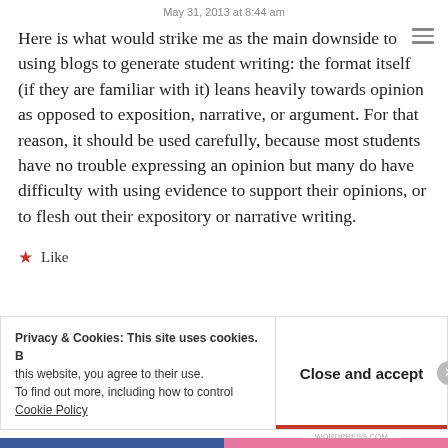May 31, 2013 at 8:44 am
Here is what would strike me as the main downside to using blogs to generate student writing: the format itself (if they are familiar with it) leans heavily towards opinion as opposed to exposition, narrative, or argument. For that reason, it should be used carefully, because most students have no trouble expressing an opinion but many do have difficulty with using evidence to support their opinions, or to flesh out their expository or narrative writing.
★ Like
Privacy & Cookies: This site uses cookies. B… this website, you agree to their use. To find out more, including how to control… Cookie Policy
Close and accept